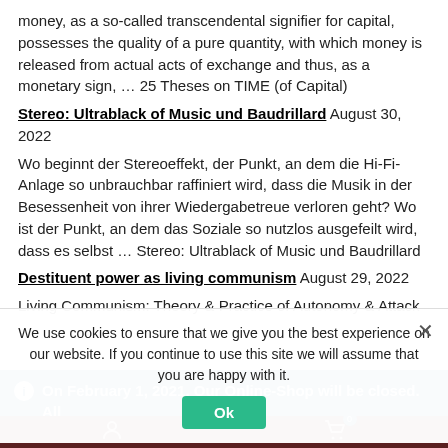money, as a so-called transcendental signifier for capital, possesses the quality of a pure quantity, with which money is released from actual acts of exchange and thus, as a monetary sign, … 25 Theses on TIME (of Capital)
Stereo: Ultrablack of Music und Baudrillard August 30, 2022 Wo beginnt der Stereoeffekt, der Punkt, an dem die Hi-Fi-Anlage so unbrauchbar raffiniert wird, dass die Musik in der Besessenheit von ihrer Wiedergabetreue verloren geht? Wo ist der Punkt, an dem das Soziale so nutzlos ausgefeilt wird, dass es selbst … Stereo: Ultrablack of Music und Baudrillard
Destituent power as living communism August 29, 2022 Living Communism: Theory & Practice of Autonomy & Attack
On February 1, 2021, Our Online-Shop will be closed. All orders until January 31 will be delivered
Dismiss
We use cookies to ensure that we give you the best experience on our website. If you continue to use this site we will assume that you are happy with it.
Ok